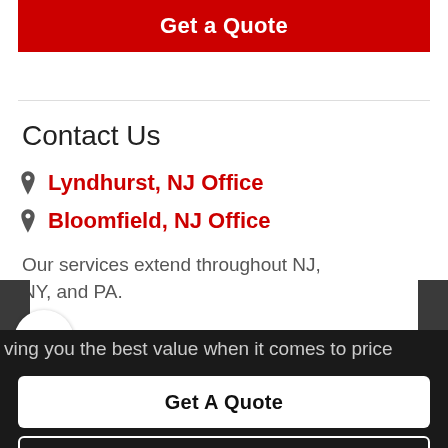Get a Quote
Contact Us
Lyndhurst, NJ Office
Bloomfield, NJ Office
Our services extend throughout NJ, NY, and PA.
ving you the best value when it comes to price
Get A Quote
Contact Us